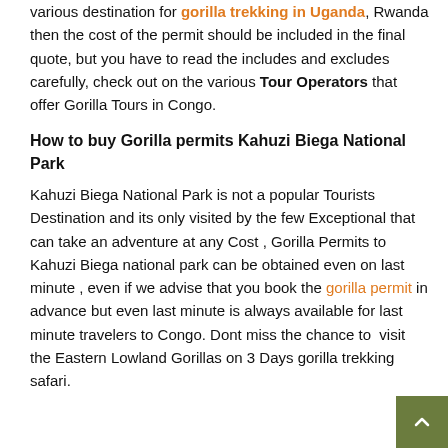various destination for gorilla trekking in Uganda, Rwanda then the cost of the permit should be included in the final quote, but you have to read the includes and excludes carefully, check out on the various Tour Operators that offer Gorilla Tours in Congo.
How to buy Gorilla permits Kahuzi Biega National Park
Kahuzi Biega National Park is not a popular Tourists Destination and its only visited by the few Exceptional that can take an adventure at any Cost , Gorilla Permits to Kahuzi Biega national park can be obtained even on last minute , even if we advise that you book the gorilla permit in advance but even last minute is always available for last minute travelers to Congo. Dont miss the chance to visit the Eastern Lowland Gorillas on 3 Days gorilla trekking safari.